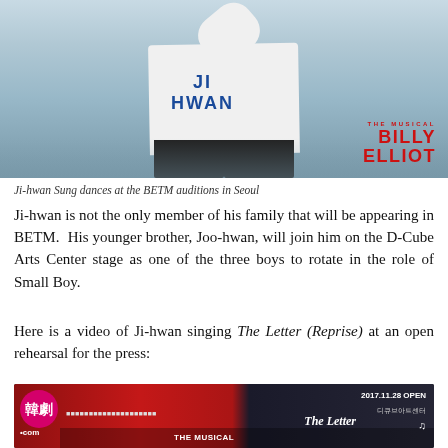[Figure (photo): Ji-hwan Sung dancing at the BETM auditions in Seoul, wearing a white shirt with 'JI HWAN' written on the back, with a Billy Elliot the Musical logo in the bottom right corner]
Ji-hwan Sung dances at the BETM auditions in Seoul
Ji-hwan is not the only member of his family that will be appearing in BETM. His younger brother, Joo-hwan, will join him on the D-Cube Arts Center stage as one of the three boys to rotate in the role of Small Boy.
Here is a video of Ji-hwan singing The Letter (Reprise) at an open rehearsal for the press:
[Figure (screenshot): Video thumbnail showing Ji-hwan singing The Letter (Reprise), with Korean drama .com logo and '2017.11.28 OPEN' text, Billy Elliot The Musical branding]